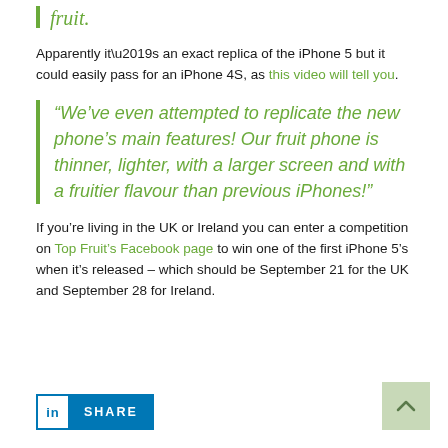fruit.
Apparently it’s an exact replica of the iPhone 5 but it could easily pass for an iPhone 4S, as this video will tell you.
“We’ve even attempted to replicate the new phone’s main features! Our fruit phone is thinner, lighter, with a larger screen and with a fruitier flavour than previous iPhones!”
If you’re living in the UK or Ireland you can enter a competition on Top Fruit’s Facebook page to win one of the first iPhone 5’s when it’s released – which should be September 21 for the UK and September 28 for Ireland.